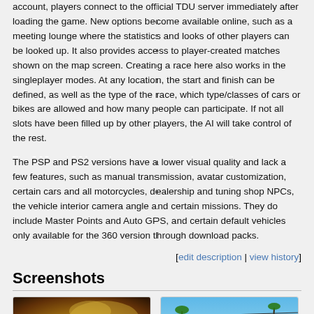account, players connect to the official TDU server immediately after loading the game. New options become available online, such as a meeting lounge where the statistics and looks of other players can be looked up. It also provides access to player-created matches shown on the map screen. Creating a race here also works in the singleplayer modes. At any location, the start and finish can be defined, as well as the type of the race, which type/classes of cars or bikes are allowed and how many people can participate. If not all slots have been filled up by other players, the AI will take control of the rest.
The PSP and PS2 versions have a lower visual quality and lack a few features, such as manual transmission, avatar customization, certain cars and all motorcycles, dealership and tuning shop NPCs, the vehicle interior camera angle and certain missions. They do include Master Points and Auto GPS, and certain default vehicles only available for the 360 version through download packs.
[edit description | view history]
Screenshots
[Figure (screenshot): Interior view of a yellow car with dashboard visible, golden/warm tones]
[Figure (screenshot): Outdoor racing scene with blue sky, palm trees, green hills, dark road and an orange car]